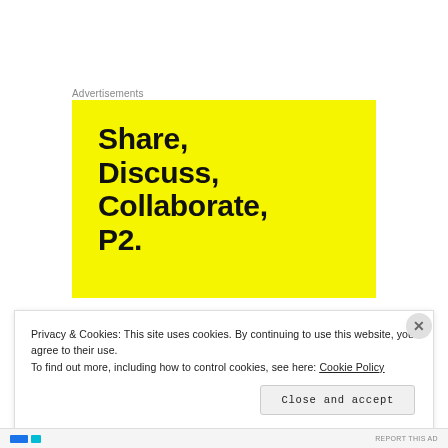Advertisements
[Figure (illustration): Yellow advertisement banner with large bold black text reading 'Share, Discuss, Collaborate, P2.']
Privacy & Cookies: This site uses cookies. By continuing to use this website, you agree to their use.
To find out more, including how to control cookies, see here: Cookie Policy
Close and accept
REPORT THIS AD